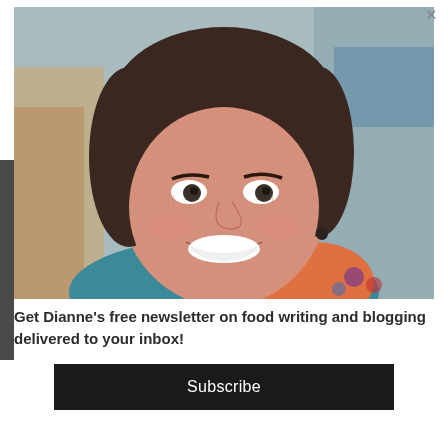[Figure (photo): Smiling middle-aged woman with dark hair wearing a colorful teal and red scarf, photographed from the shoulders up with a blurred background.]
Get Dianne's free newsletter on food writing and blogging delivered to your inbox!
Subscribe